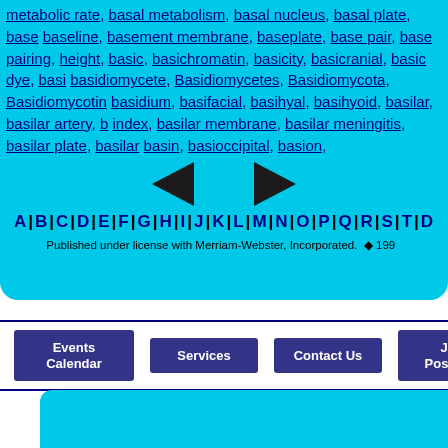metabolic rate, basal metabolism, basal nucleus, basal plate, base baseline, basement membrane, baseplate, base pair, base pairing, height, basic, basichromatin, basicity, basicranial, basic dye, basi basidiomycete, Basidiomycetes, Basidiomycota, Basidiomycotin basidium, basifacial, basihyal, basihyoid, basilar, basilar artery, b index, basilar membrane, basilar meningitis, basilar plate, basilar basin, basioccipital, basion,
[Figure (other): Left and right navigation arrows (triangles) for browsing dictionary entries]
A | B | C | D | E | F | G | H | I | J | K | L | M | N | O | P | Q | R | S | T | ...
Published under license with Merriam-Webster, Incorporated.  © 1997...
Events Calendar | Services | Contact Us | Job Postings
[Figure (photo): Bottom photo strip showing flames and outdoor scene on cyan background]